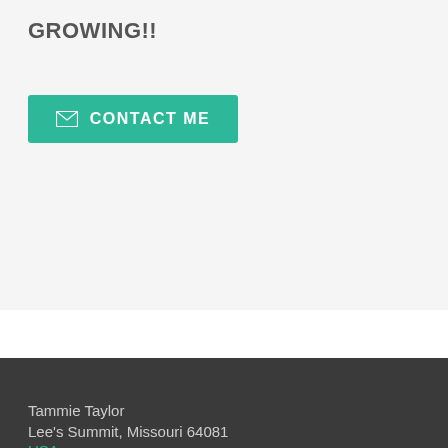GROWING!!
[Figure (other): Teal/green 'CONTACT ME' button with envelope icon]
Tammie Taylor
Lee's Summit, Missouri 64081
USA